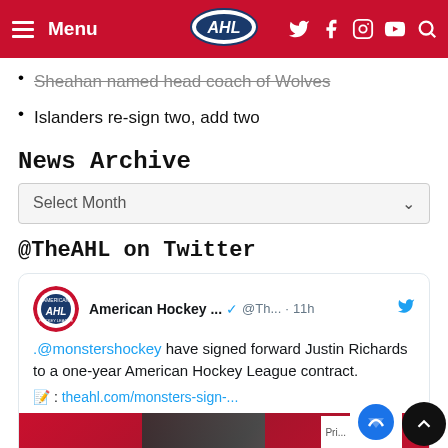Menu | AHL | (social icons)
Sheahan named head coach of Wolves
Islanders re-sign two, add two
News Archive
Select Month
@TheAHL on Twitter
American Hockey ... @Th... · 11h .@monstershockey have signed forward Justin Richards to a one-year American Hockey League contract. 📝 : theahl.com/monsters-sign-...